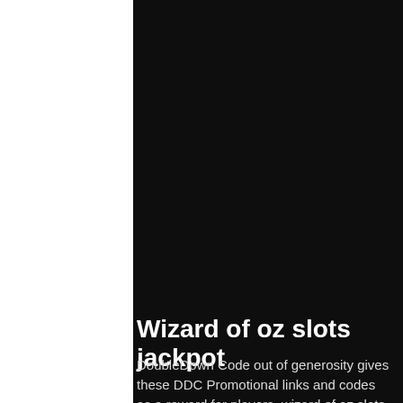[Figure (photo): Dark/black background image occupying the upper portion of the page]
Wizard of oz slots jackpot
DoubleDown Code out of generosity gives these DDC Promotional links and codes as a reward for players, wizard of oz slots jackpot.